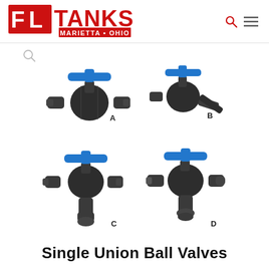[Figure (logo): FL Tanks logo — red letters FL and TANKS with tagline MARIETTA · OHIO]
[Figure (photo): Four PVC single union ball valves labeled A, B, C, D. A and C have blue T-bar handles, B has a dark lever handle, D has a blue T-bar handle. C is a 3-way tee valve, D is a 3-way valve with threaded port. Includes a small gray search/zoom icon in the upper left.]
Single Union Ball Valves